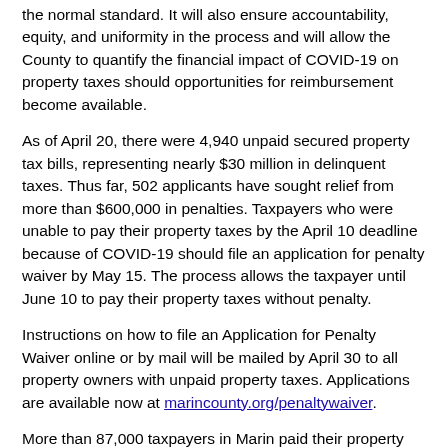the normal standard. It will also ensure accountability, equity, and uniformity in the process and will allow the County to quantify the financial impact of COVID-19 on property taxes should opportunities for reimbursement become available.
As of April 20, there were 4,940 unpaid secured property tax bills, representing nearly $30 million in delinquent taxes. Thus far, 502 applicants have sought relief from more than $600,000 in penalties. Taxpayers who were unable to pay their property taxes by the April 10 deadline because of COVID-19 should file an application for penalty waiver by May 15. The process allows the taxpayer until June 10 to pay their property taxes without penalty.
Instructions on how to file an Application for Penalty Waiver online or by mail will be mailed by April 30 to all property owners with unpaid property taxes. Applications are available now at marincounty.org/penaltywaiver.
More than 87,000 taxpayers in Marin paid their property taxes by the April 10 deadline. Local agencies rely on property taxes to provide services, such as public health, fire protection, public safety,